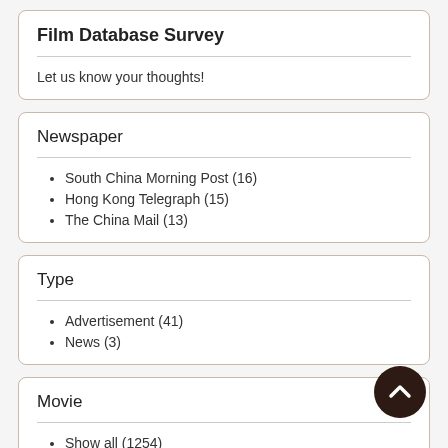Film Database Survey
Let us know your thoughts!
Newspaper
South China Morning Post (16)
Hong Kong Telegraph (15)
The China Mail (13)
Type
Advertisement (41)
News (3)
Movie
Show all (1254)
Topical Budget (126)
Comedy (69)
Gazette (56)